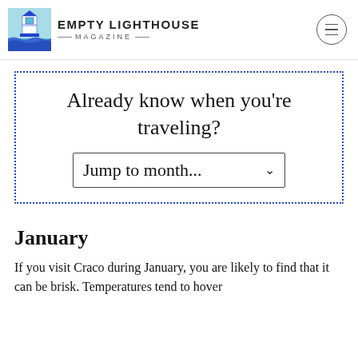EMPTY LIGHTHOUSE MAGAZINE
Already know when you're traveling?
Jump to month...
January
If you visit Craco during January, you are likely to find that it can be brisk. Temperatures tend to hover